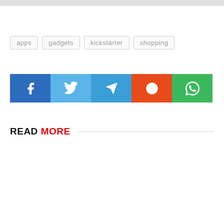[Figure (photo): Partial image at top of page, cropped]
apps
gadgets
kickstarter
shopping
[Figure (infographic): Social share buttons: Facebook, Twitter, Telegram, Reddit, WhatsApp]
READ MORE